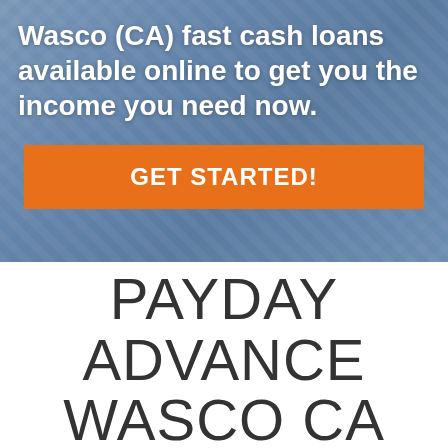[Figure (photo): Background photo of a man in a blue and white checkered shirt, overlaid with a blue-tinted semi-transparent overlay]
Wasco (CA) fast cash loans available online to get you the income you need now.
GET STARTED!
PAYDAY ADVANCE WASCO CA